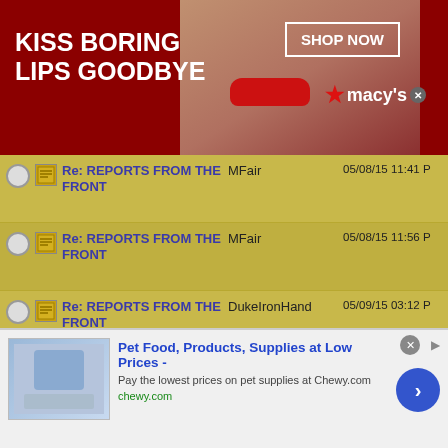[Figure (photo): Macy's advertisement banner: 'KISS BORING LIPS GOODBYE' with woman's face and red lips, SHOP NOW button and Macy's star logo on dark red background]
Re: REPORTS FROM THE FRONT | MFair | 05/08/15 11:41 PM
Re: REPORTS FROM THE FRONT | MFair | 05/08/15 11:56 PM
Re: REPORTS FROM THE FRONT | DukeIronHand | 05/09/15 03:12 PM
Re: REPORTS FROM THE FRONT | DukeIronHand | 05/09/15 11:47 PM
Re: REPORTS FROM THE FRONT | Rick_Rawlings | 05/10/15 02:14 PM
Re: REPORTS FROM THE FRONT | DukeIronHand | 05/10/15 02:20 PM
[Figure (screenshot): Chewy.com advertisement: 'Pet Food, Products, Supplies at Low Prices - Pay the lowest prices on pet supplies at Chewy.com' with blue arrow button]